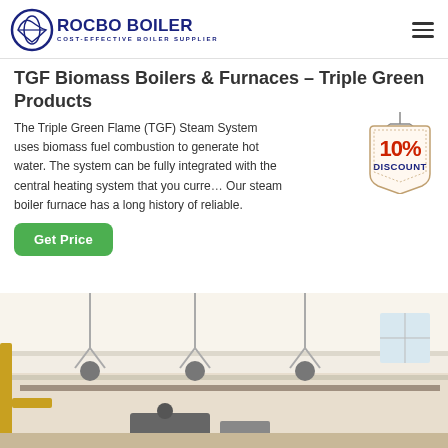ROCBO BOILER - COST-EFFECTIVE BOILER SUPPLIER
TGF Biomass Boilers & Furnaces – Triple Green Products
The Triple Green Flame (TGF) Steam System uses biomass fuel combustion to generate hot water. The system can be fully integrated with the central heating system that you curre... Our steam boiler furnace has a long history of reliable.
[Figure (photo): Industrial boiler/furnace facility interior showing ceiling with suspended pipes, mounting hardware, and industrial equipment in a white-walled building]
[Figure (other): 10% DISCOUNT badge/tag graphic overlaid on the text area]